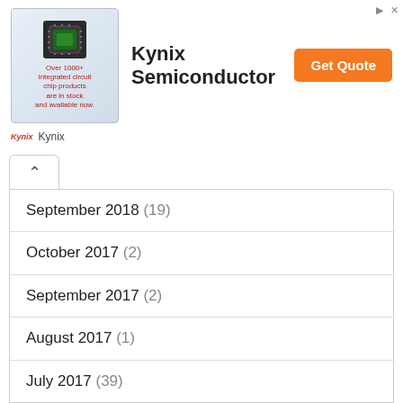[Figure (other): Kynix Semiconductor advertisement banner with chip image, brand logo, company name, and Get Quote button]
September 2018 (19)
October 2017 (2)
September 2017 (2)
August 2017 (1)
July 2017 (39)
May 2017 (3)
April 2017 (4)
March 2017 (4)